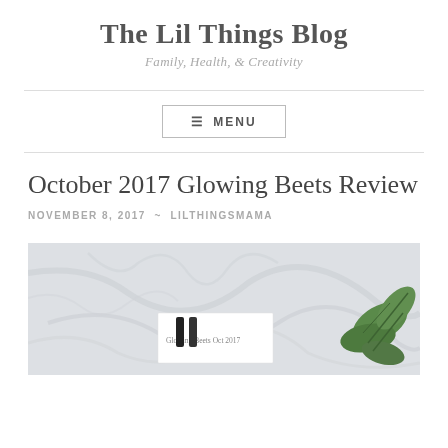The Lil Things Blog
Family, Health, & Creativity
≡ MENU
October 2017 Glowing Beets Review
NOVEMBER 8, 2017 ~ LILTHINGSMAMA
[Figure (photo): Flat lay photo on marble background showing Glowing Beets box with small bottles and green plant leaves on the right side]